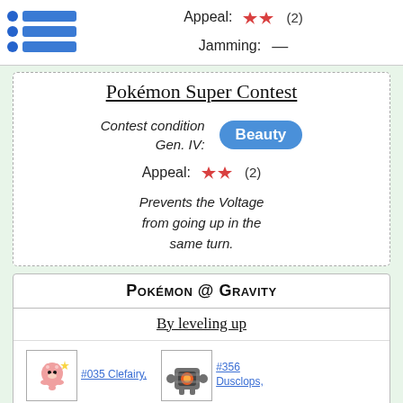Appeal: ♥♥ (2)
Jamming: —
Pokémon Super Contest
Contest condition Gen. IV: Beauty
Appeal: ♥♥ (2)
Prevents the Voltage from going up in the same turn.
Pokémon @ Gravity
By leveling up
#035 Clefairy,
#356 Dusclops,